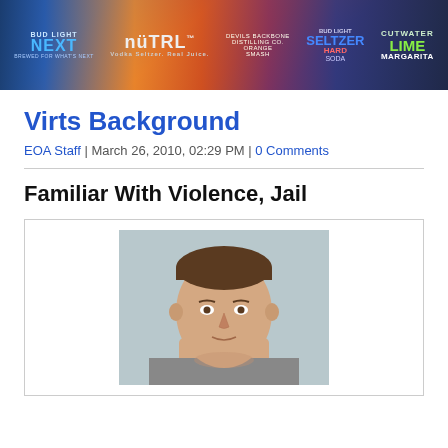[Figure (other): Advertisement banner featuring Bud Light Next, NÜTRL Vodka Seltzer, Devils Backbone Orange Smash, Bud Light Hard Seltzer Soda, and Cutwater Lime Margarita]
Virts Background
EOA Staff | March 26, 2010, 02:29 PM | 0 Comments
Familiar With Violence, Jail
[Figure (photo): Mugshot/booking photo of a young white male with short dark hair, facing forward against a gray background]